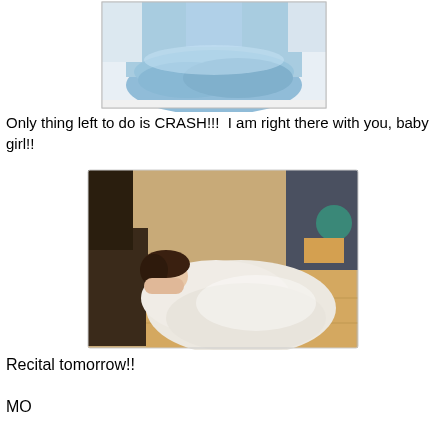[Figure (photo): Partial photo of a child in a blue princess/fairy costume dress, cropped showing lower body and skirt]
Only thing left to do is CRASH!!!  I am right there with you, baby girl!!
[Figure (photo): Photo of a child in a pink dress who has fallen asleep/crashed on the floor, slumped against furniture]
Recital tomorrow!!
MO